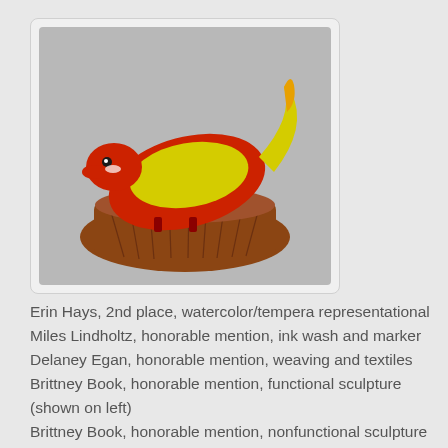[Figure (photo): A ceramic sculpture of a red and yellow bird sitting in a brown woven basket, photographed against a gray background.]
Erin Hays, 2nd place, watercolor/tempera representational
Miles Lindholtz, honorable mention, ink wash and marker
Delaney Egan, honorable mention, weaving and textiles
Brittney Book, honorable mention, functional sculpture (shown on left)
Brittney Book, honorable mention, nonfunctional sculpture
Jack Kuehneman, 2nd place, mixed media sculpture (small)
Brittney Book, honorable mention, relief...